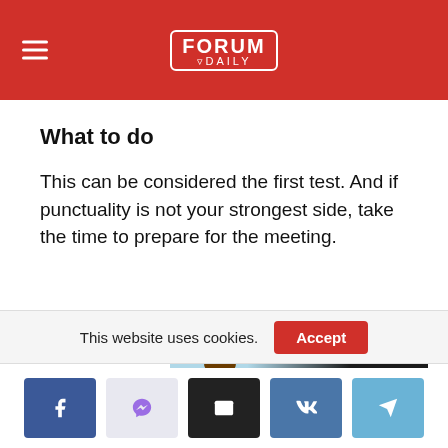Forum Daily
What to do
This can be considered the first test. And if punctuality is not your strongest side, take the time to prepare for the meeting.
[Figure (infographic): Svoboda Express, Inc. 100% Flatbed Company advertisement banner with a cartoon figure on a light blue to dark background]
This website uses cookies.
[Figure (infographic): Social media sharing buttons: Facebook, Messenger, Email, VK, Telegram]